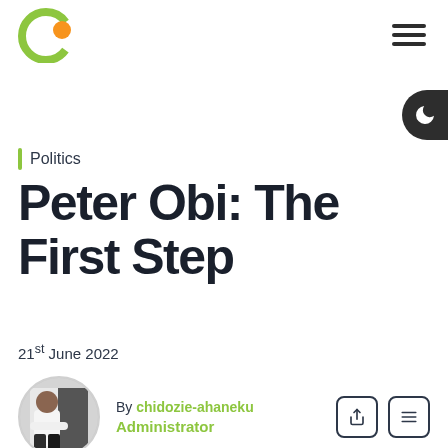Concise News logo and navigation
Politics
Peter Obi: The First Step
21st June 2022
By chidozie-ahaneku Administrator